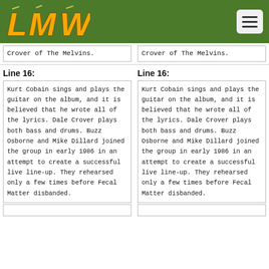LMW logo and navigation header
Crover of The Melvins.
Crover of The Melvins.
Line 16:
Line 16:
Kurt Cobain sings and plays the guitar on the album, and it is believed that he wrote all of the lyrics. Dale Crover plays both bass and drums. Buzz Osborne and Mike Dillard joined the group in early 1986 in an attempt to create a successful live line-up. They rehearsed only a few times before Fecal Matter disbanded.
Kurt Cobain sings and plays the guitar on the album, and it is believed that he wrote all of the lyrics. Dale Crover plays both bass and drums. Buzz Osborne and Mike Dillard joined the group in early 1986 in an attempt to create a successful live line-up. They rehearsed only a few times before Fecal Matter disbanded.